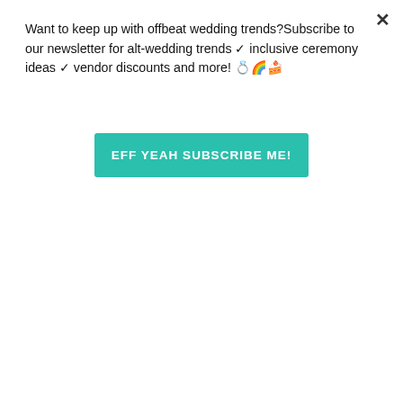[Figure (photo): Two Scrabble tile holders spelling WIFE and WIFE placed on a burlap/wood surface with a tree stump or bark in the background]
Want to keep up with offbeat wedding trends?Subscribe to our newsletter for alt-wedding trends ✓ inclusive ceremony ideas ✓ vendor discounts and more! 💍🎈🍰
EFF YEAH SUBSCRIBE ME!
Our biggest challenge:
My biggest challenge derives from a fear of rejection. I wanted our friends and family to be 100% behind us. We are both teachers and work in a conservative area where lesbians aren’t a part of everyday society. We have never been very public about our relationship. I was thrilled to